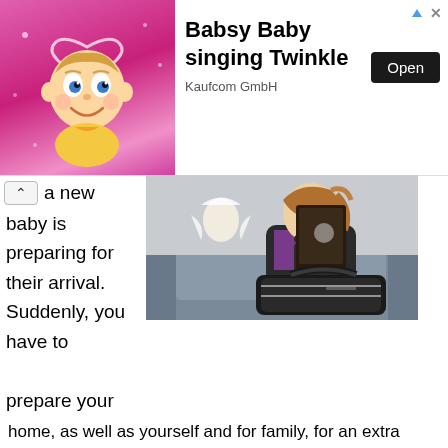[Figure (infographic): Advertisement banner for Babsy Baby singing Twinkle app by Kaufcom GmbH, featuring an animated baby character on a pink background, with an Open button.]
a new baby is preparing for their arrival. Suddenly, you have to prepare your home, as well as yourself and for family, for an extra person. The best tool that new parents have at their disposal is the baby registry.
[Figure (photo): A woman sitting on a couch holding a tablet/folder, with a large black bag in front of her and a white stuffed angel figure in the background.]
Whether you have been looking forward to this moment since childhood or find it a tacky practice, a baby registry is an excellent way to get the things you need. People want to